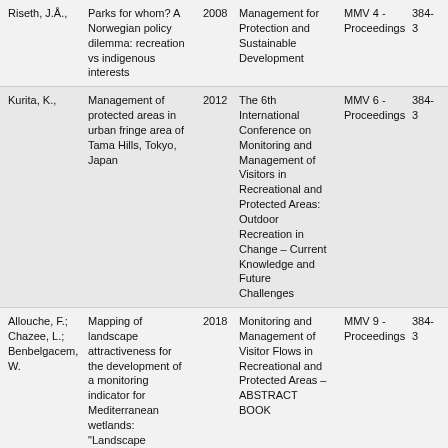| Author | Title | Year | Source | Series | Pages |
| --- | --- | --- | --- | --- | --- |
| Riseth, J.Å., | Parks for whom? A Norwegian policy dilemma: recreation vs indigenous interests | 2008 | Management for Protection and Sustainable Development | MMV 4 - Proceedings | 384-3 |
| Kurita, K., | Management of protected areas in urban fringe area of Tama Hills, Tokyo, Japan | 2012 | The 6th International Conference on Monitoring and Management of Visitors in Recreational and Protected Areas: Outdoor Recreation in Change – Current Knowledge and Future Challenges | MMV 6 - Proceedings | 384-3 |
| Allouche, F.; Chazee, L.; Benbelgacem, W. | Mapping of landscape attractiveness for the development of a monitoring indicator for Mediterranean wetlands: "Landscape perception indicators", Ichkeul | 2018 | Monitoring and Management of Visitor Flows in Recreational and Protected Areas – ABSTRACT BOOK | MMV 9 - Proceedings | 384-3 |